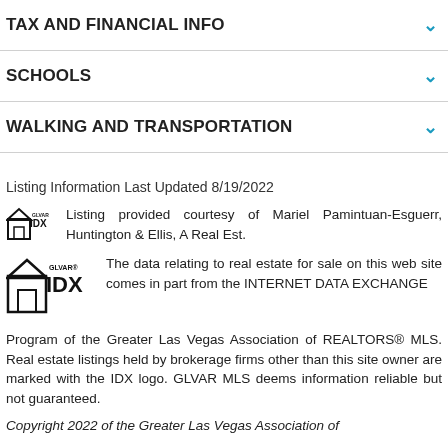TAX AND FINANCIAL INFO
SCHOOLS
WALKING AND TRANSPORTATION
Listing Information Last Updated 8/19/2022
Listing provided courtesy of Mariel Pamintuan-Esguerr, Huntington & Ellis, A Real Est.
The data relating to real estate for sale on this web site comes in part from the INTERNET DATA EXCHANGE Program of the Greater Las Vegas Association of REALTORS® MLS. Real estate listings held by brokerage firms other than this site owner are marked with the IDX logo. GLVAR MLS deems information reliable but not guaranteed.
Copyright 2022 of the Greater Las Vegas Association of